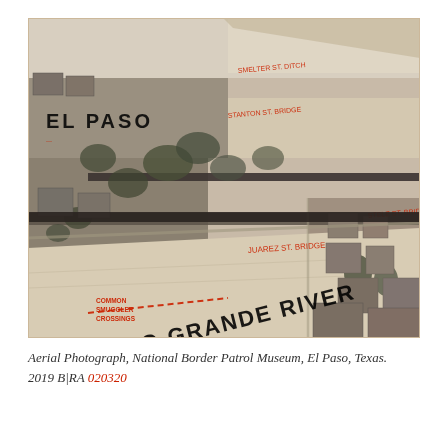[Figure (photo): Aerial photograph showing the Rio Grande River and El Paso, Texas area. Black and white aerial map with red and black handwritten annotations including 'EL PASO', 'RIO GRANDE RIVER', 'COMMON SMUGGLER CROSSINGS' marked with dashed red line, and other labeled features including bridges and streets.]
Aerial Photograph, National Border Patrol Museum, El Paso, Texas. 2019 B|RA 020320